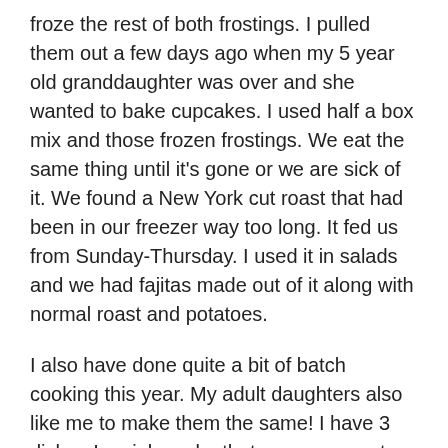froze the rest of both frostings.  I pulled them out a few days ago when my 5 year old granddaughter was over and she wanted to bake cupcakes.  I used half a box mix and those frozen frostings. We eat the same thing until it's gone or we are sick of it.  We found a New York cut roast that had been in our freezer way too long.  It fed us from Sunday-Thursday. I used it in salads and we had fajitas made out of it along with normal roast and potatoes.
I also have done quite a bit of batch cooking this year.  My adult daughters also like me to make them the same! I have 3 dishes I mainly make that were my most used over the years.  I also freeze extra soup and chopped onions/bell peppers and anything else I can if I cannot use them before they go bad (Zero Waste Kitchen). I made jams and have frozen 3 gallons of blueberries.